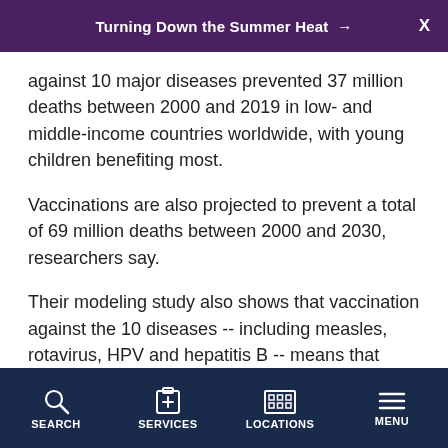Turning Down the Summer Heat →
against 10 major diseases prevented 37 million deaths between 2000 and 2019 in low- and middle-income countries worldwide, with young children benefiting most.
Vaccinations are also projected to prevent a total of 69 million deaths between 2000 and 2030, researchers say.
Their modeling study also shows that vaccination against the 10 diseases -- including measles, rotavirus, HPV and hepatitis B -- means that people born in 2019 will have a 72% lower risk of death from those
SEARCH   SERVICES   LOCATIONS   MENU